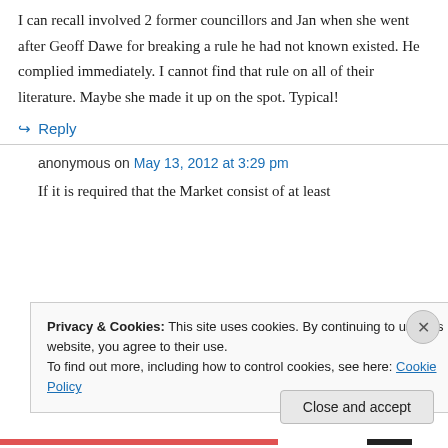I can recall involved 2 former councillors and Jan when she went after Geoff Dawe for breaking a rule he had not known existed. He complied immediately. I cannot find that rule on all of their literature. Maybe she made it up on the spot. Typical!
↳ Reply
anonymous on May 13, 2012 at 3:29 pm
If it is required that the Market consist of at least
Privacy & Cookies: This site uses cookies. By continuing to use this website, you agree to their use.
To find out more, including how to control cookies, see here: Cookie Policy
Close and accept